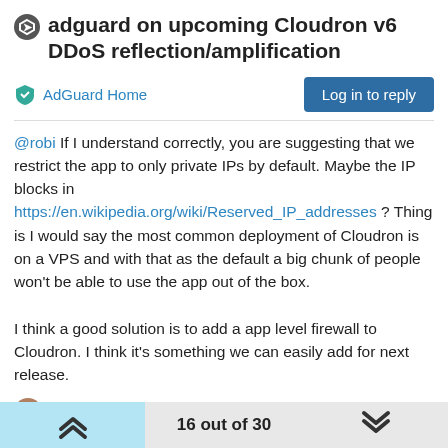adguard on upcoming Cloudron v6 DDoS reflection/amplification
AdGuard Home
Log in to reply
@robi If I understand correctly, you are suggesting that we restrict the app to only private IPs by default. Maybe the IP blocks in https://en.wikipedia.org/wiki/Reserved_IP_addresses ? Thing is I would say the most common deployment of Cloudron is on a VPS and with that as the default a big chunk of people won't be able to use the app out of the box.

I think a good solution is to add a app level firewall to Cloudron. I think it's something we can easily add for next release.
1 Reply >
1
robi
Dec 4, 2020, 10:26 PM
16 out of 30